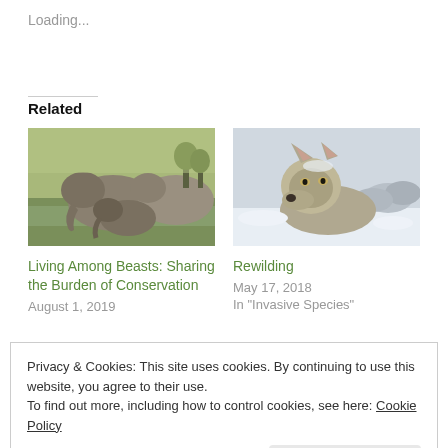Loading...
Related
[Figure (photo): Group of elephants at a watering hole]
Living Among Beasts: Sharing the Burden of Conservation
August 1, 2019
[Figure (photo): Wolf in snow]
Rewilding
May 17, 2018
In "Invasive Species"
Privacy & Cookies: This site uses cookies. By continuing to use this website, you agree to their use.
To find out more, including how to control cookies, see here: Cookie Policy
Close and accept
A Beginner's Guide to